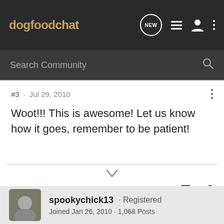dogfoodchat
#3 · Jul 29, 2010
Woot!!! This is awesome! Let us know how it goes, remember to be patient!
spookychick13 · Registered
Joined Jan 26, 2010 · 1,068 Posts